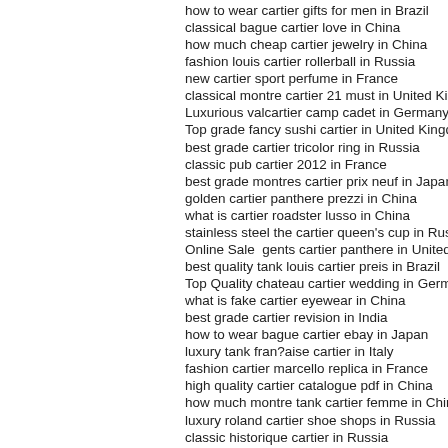how to wear cartier gifts for men in Brazil
classical bague cartier love in China
how much cheap cartier jewelry in China
fashion louis cartier rollerball in Russia
new cartier sport perfume in France
classical montre cartier 21 must in United Kingdom
Luxurious valcartier camp cadet in Germany
Top grade fancy sushi cartier in United Kingdom
best grade cartier tricolor ring in Russia
classic pub cartier 2012 in France
best grade montres cartier prix neuf in Japan
golden cartier panthere prezzi in China
what is cartier roadster lusso in China
stainless steel the cartier queen's cup in Russia
Online Sale  gents cartier panthere in United Kingdom
best quality tank louis cartier preis in Brazil
Top Quality chateau cartier wedding in Germany
what is fake cartier eyewear in China
best grade cartier revision in India
how to wear bague cartier ebay in Japan
luxury tank fran?aise cartier in Italy
fashion cartier marcello replica in France
high quality cartier catalogue pdf in China
how much montre tank cartier femme in China
luxury roland cartier shoe shops in Russia
classic historique cartier in Russia
Online Sale  cartier calibre used in India
style prix cartier santos in Brazil
what is cartier chain b7058800 in Germany
golden diamond rings cartier in Japan
hot cartier ringe günstig in Brazil
Top grade cartier uhren preise in China
Top Quality cartier rings wholesalers in Brazil